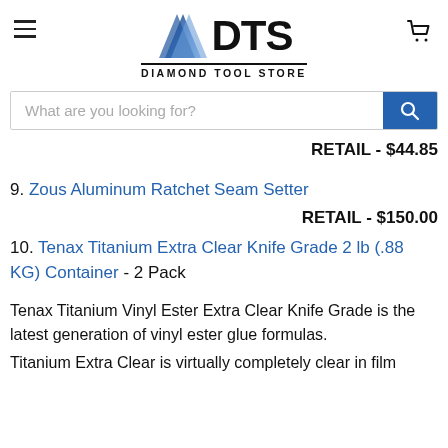DTS Diamond Tool Store
What are you looking for?
RETAIL - $44.85
9. Zous Aluminum Ratchet Seam Setter
RETAIL - $150.00
10. Tenax Titanium Extra Clear Knife Grade 2 lb (.88 KG) Container - 2 Pack
Tenax Titanium Vinyl Ester Extra Clear Knife Grade is the latest generation of vinyl ester glue formulas.
Titanium Extra Clear is virtually completely clear in film